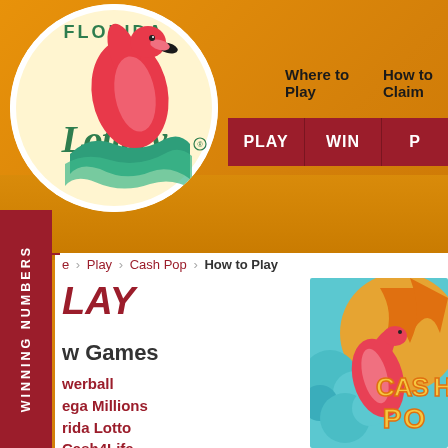[Figure (logo): Florida Lottery logo — white circle with pink flamingo and 'Florida Lottery' text in green and teal script]
Where to Play    How to Claim
PLAY    WIN    P
WINNING NUMBERS
e > Play > Cash Pop > How to Play
LAY
w Games
werball
ega Millions
rida Lotto
Cash4Life
[Figure (illustration): Cash Pop game promotional image with colorful flamingo, teal and orange background with 'CASH POP' stylized text]